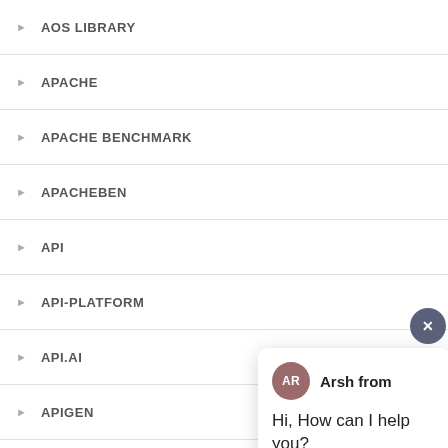AOS LIBRARY
APACHE
APACHE BENCHMARK
APACHEBEN
API
API-PLATFORM
API.AI
APIGEN
APIS
[Figure (screenshot): Chat popup showing agent 'Arsh from' with avatar initials AR, message 'Hi, How can I help you?', and a text input field with placeholder 'Type your message' and a send arrow button. A close (X) button appears in the top-right corner of the popup.]